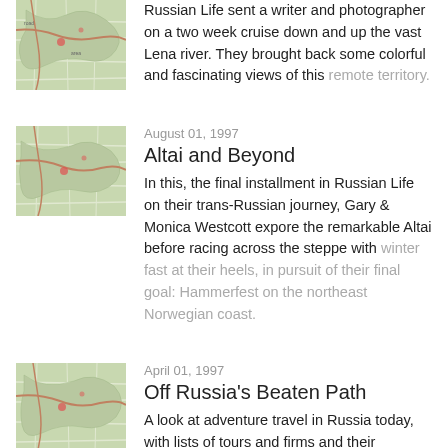[Figure (photo): Map thumbnail showing terrain/road map for first article (Big River of Siberia)]
Russian Life sent a writer and photographer on a two week cruise down and up the vast Lena river. They brought back some colorful and fascinating views of this remote territory.
[Figure (photo): Map thumbnail showing terrain/road map for Altai and Beyond article]
August 01, 1997
Altai and Beyond
In this, the final installment in Russian Life on their trans-Russian journey, Gary & Monica Westcott expore the remarkable Altai before racing across the steppe with winter fast at their heels, in pursuit of their final goal: Hammerfest on the northeast Norwegian coast.
[Figure (photo): Map thumbnail showing terrain/road map for Off Russia's Beaten Path article]
April 01, 1997
Off Russia's Beaten Path
A look at adventure travel in Russia today, with lists of tours and firms and their offerings. Plus things to consider before "making the leap."